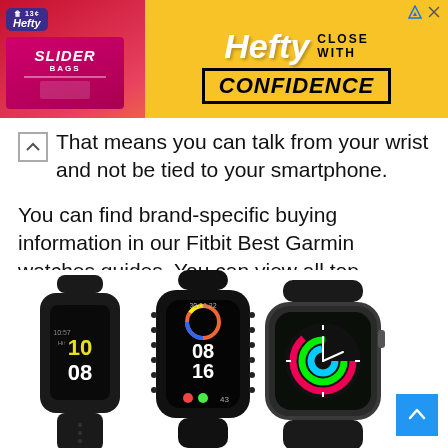[Figure (illustration): Hefty Slider Bags advertisement banner. Left side shows a red/pink background with Hefty logo and a slider bag product image. Right side shows yellow background with text 'Hefty CLOSE WITH CONFIDENCE' in bold black and white lettering.]
That means you can talk from your wrist and not be tied to your smartphone.
You can find brand-specific buying information in our Fitbit Best Garmin watches guides. You can view all top Android smartwatches here.
[Figure (photo): Three smartwatches/fitness trackers displayed side by side: a slim Samsung-style fitness band on the left showing 10:08, a Xiaomi Mi Band style tracker in the center showing 08:16, and an Apple Watch SE on the right with a colorful watch face, all with dark/black bands.]